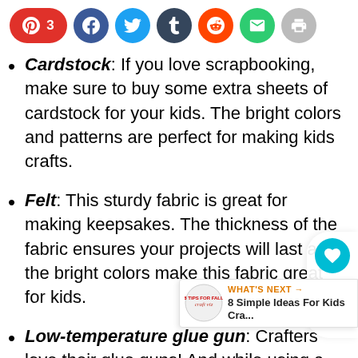[Figure (other): Social sharing bar with Pinterest (3), Facebook, Twitter, Tumblr, Reddit, Email, and Print buttons]
Cardstock: If you love scrapbooking, make sure to buy some extra sheets of cardstock for your kids. The bright colors and patterns are perfect for making kids crafts.
Felt: This sturdy fabric is great for making keepsakes. The thickness of the fabric ensures your projects will last and the bright colors make this fabric great for kids.
Low-temperature glue gun: Crafters love their glue guns! And while using a glue
[Figure (other): Floating sidebar with heart/save icon showing count 4, and share icon]
[Figure (other): What's Next promo box: 8 Simple Ideas For Kids Cra...]